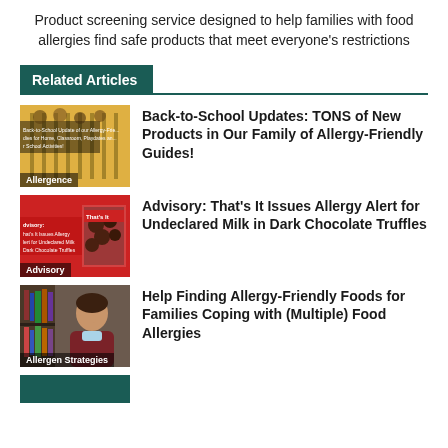Product screening service designed to help families with food allergies find safe products that meet everyone's restrictions
Related Articles
[Figure (photo): Thumbnail image with text overlay about Back-to-School Updates, yellow school bus visible, labeled 'Allergence']
Back-to-School Updates: TONS of New Products in Our Family of Allergy-Friendly Guides!
[Figure (photo): Red background advisory thumbnail with dark chocolate truffles image, labeled 'Advisory']
Advisory: That's It Issues Allergy Alert for Undeclared Milk in Dark Chocolate Truffles
[Figure (photo): Photo of a woman looking stressed in a library, labeled 'Allergen Strategies']
Help Finding Allergy-Friendly Foods for Families Coping with (Multiple) Food Allergies
[Figure (photo): Partial thumbnail at bottom, dark teal/green background]